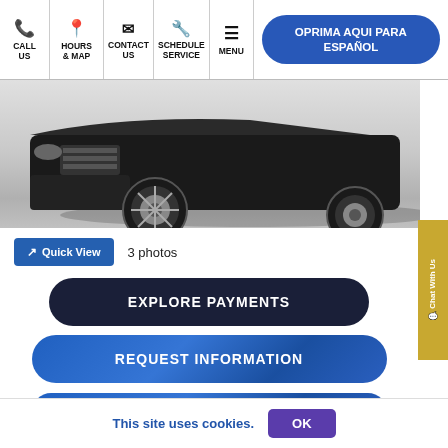CALL US | HOURS & MAP | CONTACT US | SCHEDULE SERVICE | MENU | OPRIMA AQUI PARA ESPAÑOL
[Figure (photo): Partial front/bottom view of a dark SUV vehicle showing bumper, grille area, and front wheel with alloy rim against a light gray background]
Quick View  3 photos
EXPLORE PAYMENTS
REQUEST INFORMATION
VALUE YOUR TRADE
Chat With Us
This site uses cookies.  OK